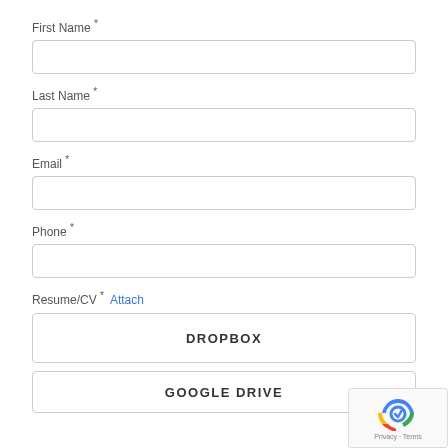First Name *
Last Name *
Email *
Phone *
Resume/CV * Attach
DROPBOX
GOOGLE DRIVE